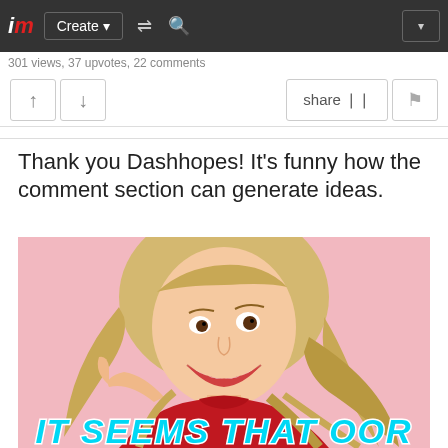im  Create  [shuffle] [search]  [dropdown]
301 views, 37 upvotes, 22 comments
[upvote] [downvote]   share [flag]
Thank you Dashhopes! It's funny how the comment section can generate ideas.
[Figure (photo): A smiling young blonde woman wearing a red turtleneck sweater against a pink background, with meme text at the bottom reading 'IT SEEMS THAT OOR']